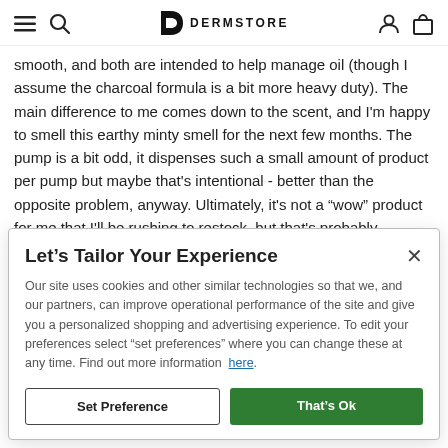DERMSTORE
smooth, and both are intended to help manage oil (though I assume the charcoal formula is a bit more heavy duty). The main difference to me comes down to the scent, and I'm happy to smell this earthy minty smell for the next few months. The pump is a bit odd, it dispenses such a small amount of product per pump but maybe that's intentional - better than the opposite problem, anyway. Ultimately, it's not a “wow” product for me that I'll be rushing to restock, but that's probably because it's not my first manual exfoliating cleanser from this line. They're all so good and seem pretty comparable to one another, so I'm happy to have another
Let’s Tailor Your Experience
Our site uses cookies and other similar technologies so that we, and our partners, can improve operational performance of the site and give you a personalized shopping and advertising experience. To edit your preferences select "set preferences" where you can change these at any time. Find out more information here.
Set Preference
That’s Ok